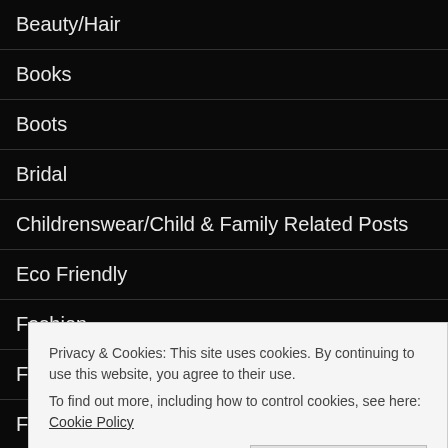Beauty/Hair
Books
Boots
Bridal
Childrenswear/Child & Family Related Posts
Eco Friendly
Fashion
Flowers/Plants/Trees
Food/Drink
Interview
Privacy & Cookies: This site uses cookies. By continuing to use this website, you agree to their use. To find out more, including how to control cookies, see here: Cookie Policy